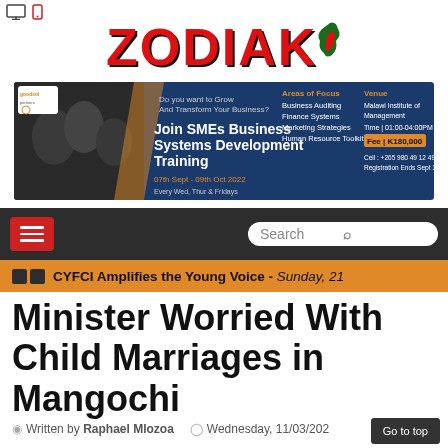Zodiak Online - navigation icons
[Figure (logo): ZODIAK logo in red bold text with a decorative map silhouette icon to the right]
[Figure (infographic): Banner advertisement for 'Join SMEs Business Systems Development Training' by Goodsol Partners. Areas of Focus: Business Auditing, Finance Systems, Marketing Strategies, Human Resource Toolkit. Venue: Malawi Institute of Management. Time: 01:00-04:00PM. Fee: K180,000. 07th Sept - 09th Oct 2022. Every Wed, Thur & Fridays. Cell: +265 980 49 12 49. Registration Ends Sept 1st.]
Navigation bar with hamburger menu and search box
CYFCI Amplifies the Young Voice - Sunday, 21
Minister Worried With Child Marriages in Mangochi
Written by Raphael Mlozoa   Wednesday, 11/03/202